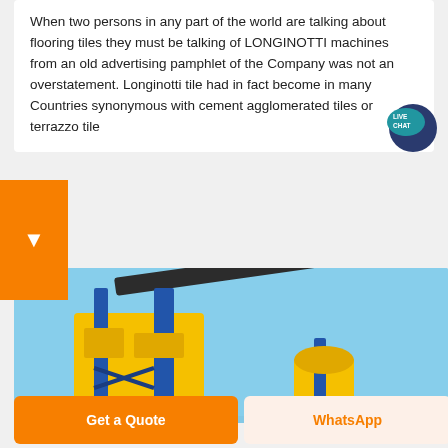When two persons in any part of the world are talking about flooring tiles they must be talking of LONGINOTTI machines from an old advertising pamphlet of the Company was not an overstatement. Longinotti tile had in fact become in many Countries synonymous with cement agglomerated tiles or terrazzo tile
[Figure (photo): Industrial yellow and blue machinery for tile/cement production against a blue sky background]
Get a Quote
WhatsApp